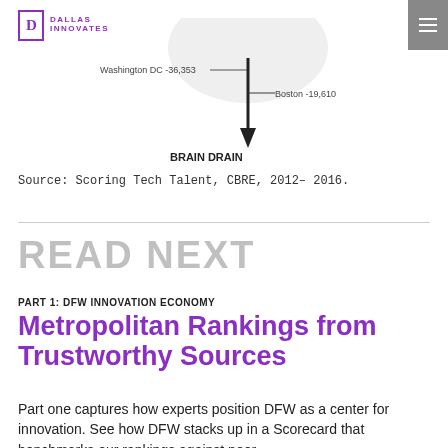Dallas Innovates
[Figure (infographic): Brain drain infographic showing arrows with labels: Washington DC -36,353 and Boston -19,610, with a downward arrow labeled BRAIN DRAIN]
Source: Scoring Tech Talent, CBRE, 2012– 2016.
READ NEXT
PART 1: DFW INNOVATION ECONOMY
Metropolitan Rankings from Trustworthy Sources
Part one captures how experts position DFW as a center for innovation. See how DFW stacks up in a Scorecard that benchmarks our rankings against peer